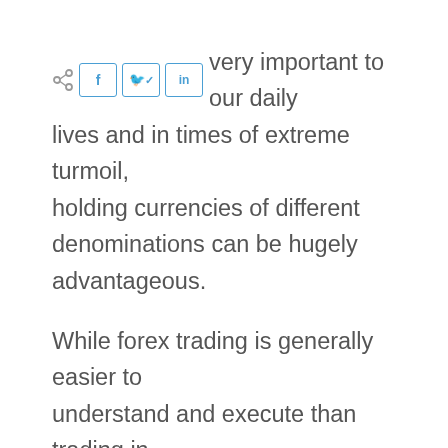...very important to our daily lives and in times of extreme turmoil, holding currencies of different denominations can be hugely advantageous.
While forex trading is generally easier to understand and execute than trading in stocks and shares, it is still a challenging undertaking. As with any investment market, if you are unprepared then you can end up in serious financial trouble. It is important that you understand exactly what you are getting into before you start